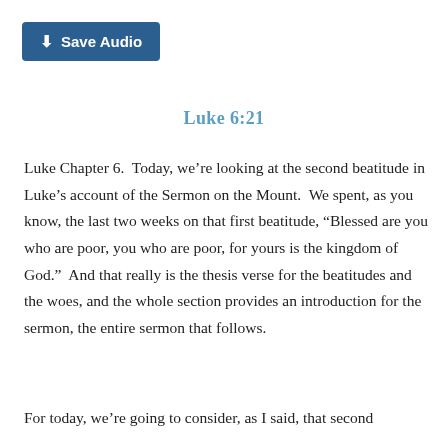[Figure (other): A teal/dark-blue button labeled 'Save Audio' with a download arrow icon]
Luke 6:21
Luke Chapter 6.  Today, we’re looking at the second beatitude in Luke’s account of the Sermon on the Mount.  We spent, as you know, the last two weeks on that first beatitude, “Blessed are you who are poor, you who are poor, for yours is the kingdom of God.”  And that really is the thesis verse for the beatitudes and the woes, and the whole section provides an introduction for the sermon, the entire sermon that follows.
For today, we’re going to consider, as I said, that second